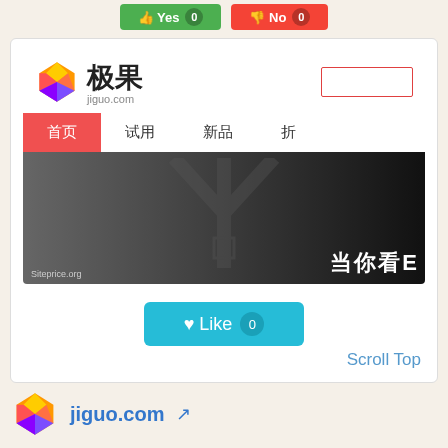[Figure (screenshot): Vote buttons: green Yes with 0, red No with 0]
[Figure (screenshot): Screenshot of jiguo.com website showing logo, navigation bar with 首页/试用/新品/折 tabs, and a dark hero banner with Y-shape graphic and Chinese text. Below is a Like button with 0 count, and Scroll Top link.]
jiguo.com
极-极果网|发现极致好物
极果是一个专注于发现、试用、测评以及众测高品质产品的平台，拥有超过1000款精选产品等你来发现
[Figure (screenshot): Bottom buttons: cyan Subscribe/Rank button and orange Trending button]